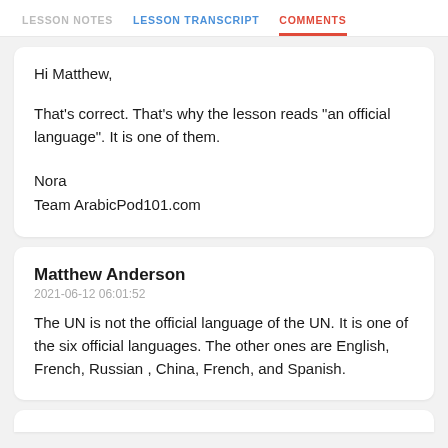LESSON NOTES   LESSON TRANSCRIPT   COMMENTS
Hi Matthew,

That's correct. That's why the lesson reads "an official language". It is one of them.

Nora
Team ArabicPod101.com
Matthew Anderson
2021-06-12 06:01:52
The UN is not the official language of the UN. It is one of the six official languages. The other ones are English, French, Russian , China, French, and Spanish.